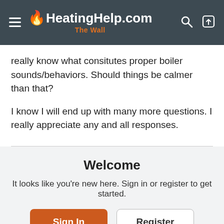HeatingHelp.com The Wall
really know what consitutes proper boiler sounds/behaviors. Should things be calmer than that?
I know I will end up with many more questions. I really appreciate any and all responses.
Welcome
It looks like you're new here. Sign in or register to get started.
Sign In | Register
Comments